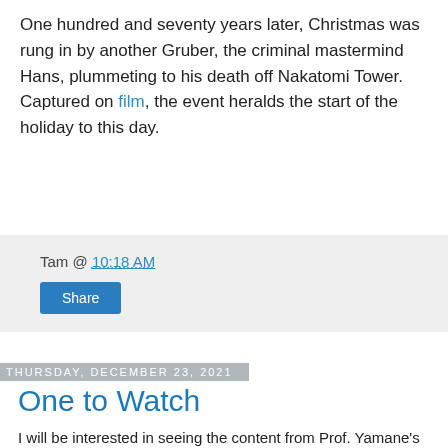One hundred and seventy years later, Christmas was rung in by another Gruber, the criminal mastermind Hans, plummeting to his death off Nakatomi Tower. Captured on film, the event heralds the start of the holiday to this day.
Tam @ 10:18 AM
Share
Thursday, December 23, 2021
One to Watch
I will be interested in seeing the content from Prof. Yamane's new video project.
Gun Culture 2.0